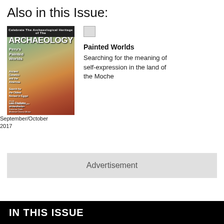Also in this Issue:
[Figure (photo): Magazine cover of Archaeology magazine, September/October 2017 issue, featuring Peru's Painted Worlds with colorful ancient mural artwork on the cover]
September/October 2017
[Figure (photo): Small broken/missing thumbnail image icon]
Painted Worlds
Searching for the meaning of self-expression in the land of the Moche
Advertisement
IN THIS ISSUE